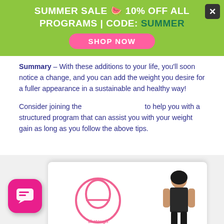[Figure (infographic): Green promotional banner: SUMMER SALE watermelon emoji 10% OFF ALL PROGRAMS | CODE: SUMMER with pink SHOP NOW button and close X button in top right]
Summary – With these additions to your life, you'll soon notice a change, and you can add the weight you desire for a fuller appearance in a sustainable and healthy way!
Consider joining the [program link] to help you with a structured program that can assist you with your weight gain as long as you follow the above tips.
[Figure (illustration): Bottom section showing a pink chat icon widget on left, and a white book/card panel with a pink logo and a woman figure on the right]